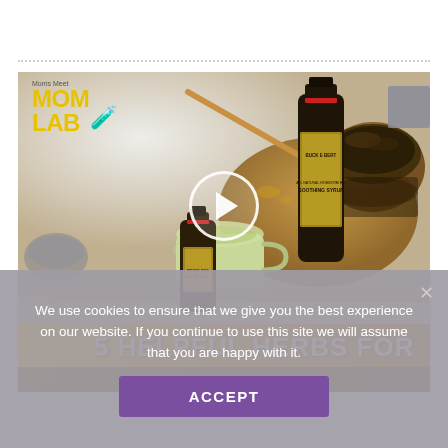[Figure (screenshot): Video thumbnail from 'Moms Meet Mom Lab' showing herbal supplement bottles, honey dipper, tea cup, and wooden bowl of herbs on a marble surface. Yellow banner at bottom reads '5 HELPFUL HERBS FOR'. A circular play button overlay is centered on the image. The Mom Lab logo appears in the top-left corner of the thumbnail.]
We use cookies to ensure that we give you the best experience on our website. If you continue to use this site we will assume that you are happy with it.
ACCEPT